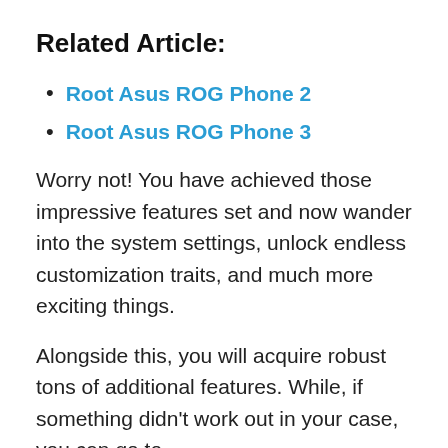Related Article:
Root Asus ROG Phone 2
Root Asus ROG Phone 3
Worry not! You have achieved those impressive features set and now wander into the system settings, unlock endless customization traits, and much more exciting things.
Alongside this, you will acquire robust tons of additional features. While, if something didn't work out in your case, you can go to